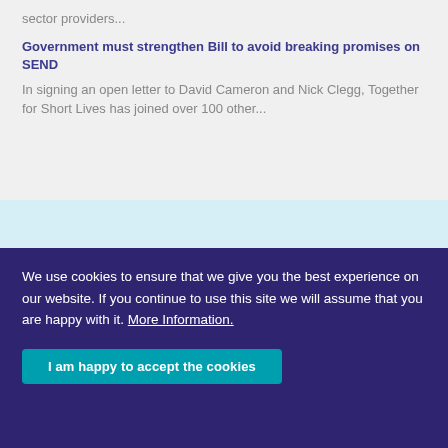sector providers...
Government must strengthen Bill to avoid breaking promises on SEND
In signing an open letter to David Cameron and Nick Clegg, Together for Short Lives has joined over 100 other...
We use cookies to ensure that we give you the best experience on our website. If you continue to use this site we will assume that you are happy with it. More Information.
I am happy to accept the cookies